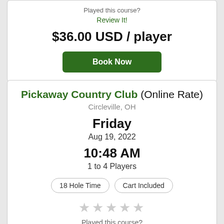Played this course?
Review It!
$36.00 USD / player
Book Now
Pickaway Country Club (Online Rate)
Circleville, OH
Friday
Aug 19, 2022
10:48 AM
1 to 4 Players
18 Hole Time
Cart Included
Played this course?
Review It!